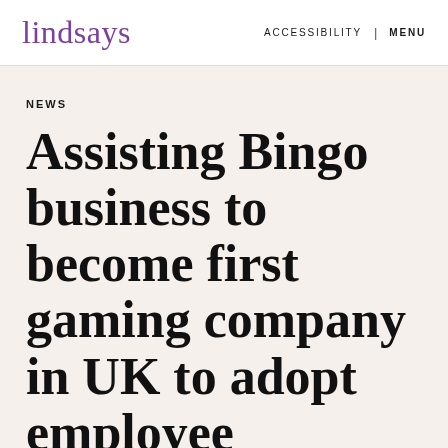lindsays | ACCESSIBILITY | MENU
NEWS
Assisting Bingo business to become first gaming company in UK to adopt employee ownership